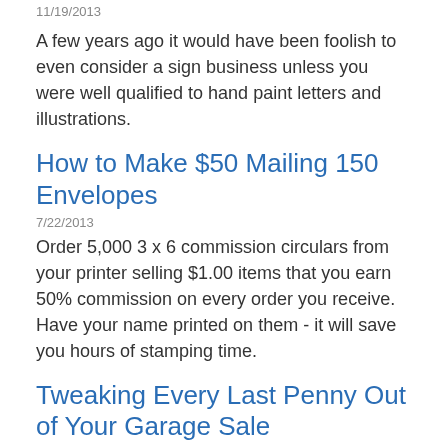11/19/2013
A few years ago it would have been foolish to even consider a sign business unless you were well qualified to hand paint letters and illustrations.
How to Make $50 Mailing 150 Envelopes
7/22/2013
Order 5,000 3 x 6 commission circulars from your printer selling $1.00 items that you earn 50% commission on every order you receive. Have your name printed on them - it will save you hours of stamping time.
Tweaking Every Last Penny Out of Your Garage Sale
2/8/2015
Garage sales are like any other form of business. To get the most money out of your garage sale, you have to know what you are doing. You have to be acquainted with the market, advertise for business, offer competitive prices and quality merchandise.